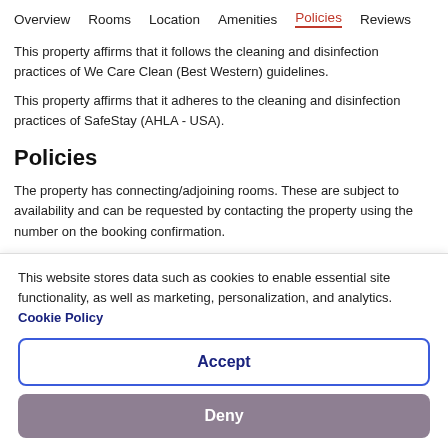Overview   Rooms   Location   Amenities   Policies   Reviews
This property affirms that it follows the cleaning and disinfection practices of We Care Clean (Best Western) guidelines.
This property affirms that it adheres to the cleaning and disinfection practices of SafeStay (AHLA - USA).
Policies
The property has connecting/adjoining rooms. These are subject to availability and can be requested by contacting the property using the number on the booking confirmation.
This website stores data such as cookies to enable essential site functionality, as well as marketing, personalization, and analytics. Cookie Policy
Accept
Deny